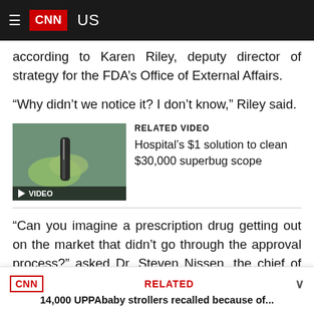CNN US
according to Karen Riley, deputy director of strategy for the FDA’s Office of External Affairs.
“Why didn’t we notice it? I don’t know,” Riley said.
[Figure (screenshot): Related video thumbnail showing a gloved hand holding a medical scope with a VIDEO play button overlay]
RELATED VIDEO
Hospital's $1 solution to clean $30,000 superbug scope
“Can you imagine a prescription drug getting out on the market that didn’t go through the approval process?” asked Dr. Steven Nissen, the chief of cardiovascular medicine at the Cleveland Clinic, who’s testified to Congress about device safety
CNN RELATED 14,000 UPPAbaby strollers recalled because of...